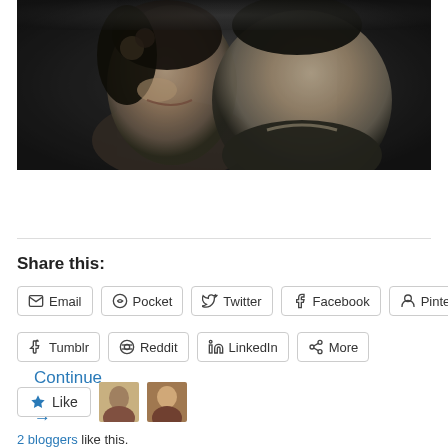[Figure (photo): Black and white photo of two people (a woman and a man) in close proximity, appearing to be from a classic film or old photograph]
Continue reading →
Share this:
Email Pocket Twitter Facebook Pinterest Tumblr Reddit LinkedIn More
Like
2 bloggers like this.